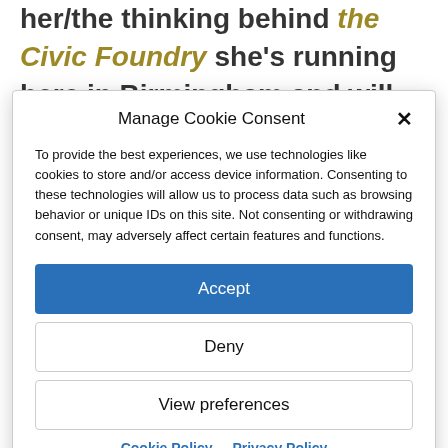her/the thinking behind the Civic Foundry she's running here in Birmingham and will also help me articulate some of the ideas behind a
Manage Cookie Consent
To provide the best experiences, we use technologies like cookies to store and/or access device information. Consenting to these technologies will allow us to process data such as browsing behavior or unique IDs on this site. Not consenting or withdrawing consent, may adversely affect certain features and functions.
Accept
Deny
View preferences
Cookie Policy   Privacy Policy